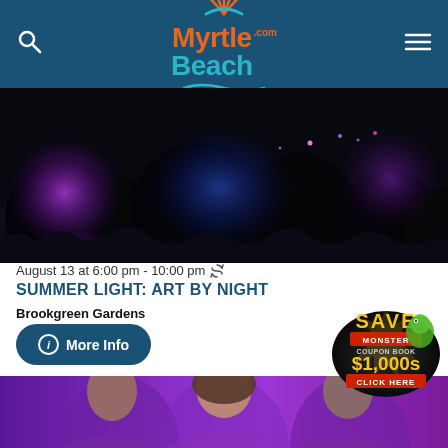Myrtle Beach.com
[Figure (photo): Night garden landscape with colored lights — purple and blue illuminated trees and plants against a dark sky]
August 13 at 6:00 pm - 10:00 pm
SUMMER LIGHT: ART BY NIGHT
Brookgreen Gardens
More Info
[Figure (photo): Three young people (two male, one female) in front of a purple/magenta background with a Monster Coupon Book advertisement overlay showing SAVE $1,000s CLICK HERE]
[Figure (infographic): Monster Coupon Book badge: SAVE, MONSTER COUPON BOOK, $1,000s, CLICK HERE]